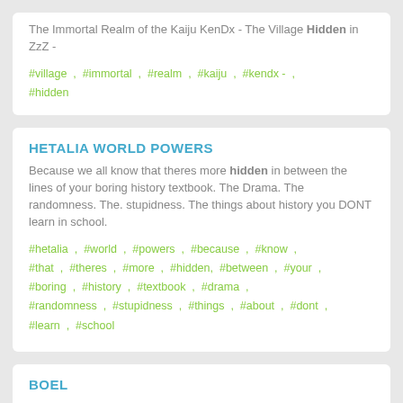The Immortal Realm of the Kaiju KenDx - The Village Hidden in ZzZ -
#village , #immortal , #realm , #kaiju , #kendx - , #hidden
HETALIA WORLD POWERS
Because we all know that theres more hidden in between the lines of your boring history textbook. The Drama. The randomness. The. stupidness. The things about history you DONT learn in school.
#hetalia , #world , #powers , #because , #know , #that , #theres , #more , #hidden, #between , #your , #boring , #history , #textbook , #drama , #randomness , #stupidness , #things , #about , #dont , #learn , #school
BOEL